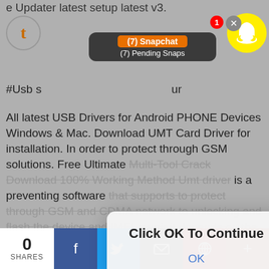e Updater latest setup latest v3.
[Figure (screenshot): Snapchat notification bar showing '(7) Snapchat' and '(7) Pending Snaps' with Snapchat ghost icon and notification badge showing 1]
#Usb s                                        ur
All latest USB Drivers for Android PHONE Devices Windows & Mac. Download UMT Card Driver for installation. In order to protect through GSM solutions. Free Ultimate Multi-Tool Crack Download 100% Working Method Umt driver is a preventing software that supports to protect through GSM and CDMA network to unlocking and flash the device and IMEI repair it depends on the country bases, Remove FRP/Samsung Account/Rent Center Lock, as well as few advances, features too.
[Figure (screenshot): Dialog box overlay with text 'Click OK To Continue' and an OK button]
#Usb smart card reader driver windows 7 software download#
0 SHARES | Facebook | Twitter | Email | Pinterest | More